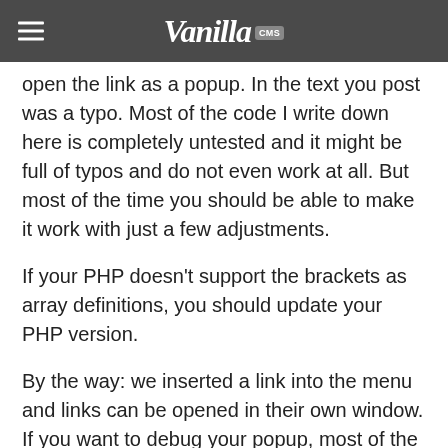Vanilla CMS
open the link as a popup. In the text you post was a typo. Most of the code I write down here is completely untested and it might be full of typos and do not even work at all. But most of the time you should be able to make it work with just a few adjustments.
If your PHP doesn't support the brackets as array definitions, you should update your PHP version.
By the way: we inserted a link into the menu and links can be opened in their own window. If you want to debug your popup, most of the time you get more information if you open the link in a separate tab.
And after I did this, I thought it might be better to extend the VanillaController.
In order to be able to show you in more detail what is